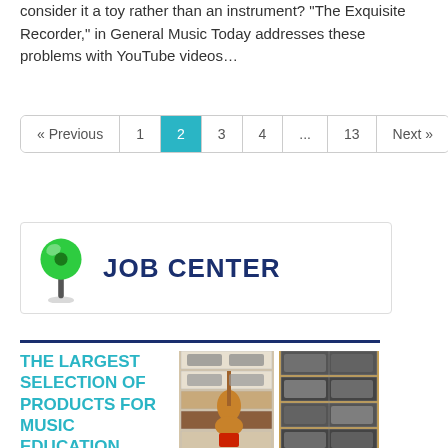consider it a toy rather than an instrument? “The Exquisite Recorder,” in General Music Today addresses these problems with YouTube videos…
[Figure (other): Pagination bar with Previous, 1, 2 (active/highlighted in teal), 3, 4, ..., 13, Next buttons]
[Figure (other): JOB CENTER banner with green pushpin icon and dark blue bold text reading JOB CENTER]
[Figure (other): Advertisement with dark blue top border, teal text reading THE LARGEST SELECTION OF PRODUCTS FOR MUSIC EDUCATION., and two cabinet/locker images showing musical instruments]